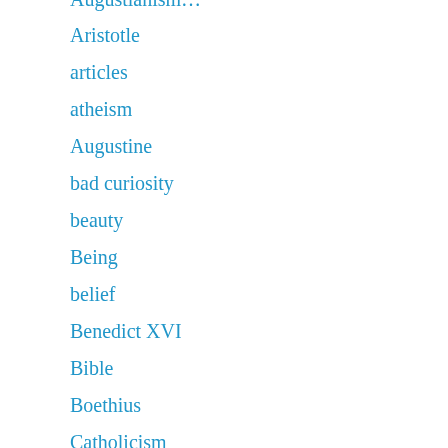Augustianism…
Aristotle
articles
atheism
Augustine
bad curiosity
beauty
Being
belief
Benedict XVI
Bible
Boethius
Catholicism
Charles Williams